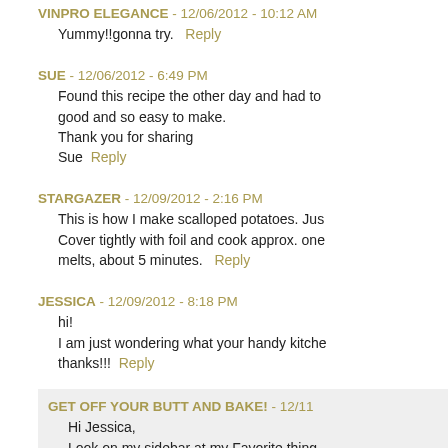VINPRO ELEGANCE - 12/06/2012 - 10:12 AM
Yummy!!gonna try.   Reply
SUE - 12/06/2012 - 6:49 PM
Found this recipe the other day and had to... good and so easy to make.
Thank you for sharing
Sue   Reply
STARGAZER - 12/09/2012 - 2:16 PM
This is how I make scalloped potatoes. Jus... Cover tightly with foil and cook approx. one... melts, about 5 minutes.   Reply
JESSICA - 12/09/2012 - 8:18 PM
hi!
I am just wondering what your handy kitche... thanks!!!   Reply
GET OFF YOUR BUTT AND BAKE! - 12/11
Hi Jessica,
Look on my sidebar at my Favorite thing...
You will find it there. I love it!
Jonna   Reply